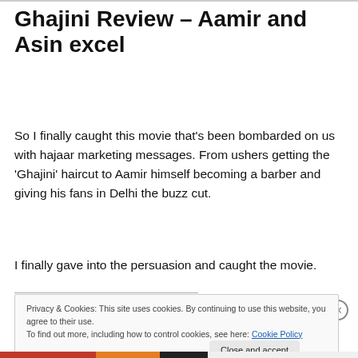Ghajini Review – Aamir and Asin excel
So I finally caught this movie that's been bombarded on us with hajaar marketing messages. From ushers getting the 'Ghajini' haircut to Aamir himself becoming a barber and giving his fans in Delhi the buzz cut.
I finally gave into the persuasion and caught the movie.
Privacy & Cookies: This site uses cookies. By continuing to use this website, you agree to their use.
To find out more, including how to control cookies, see here: Cookie Policy